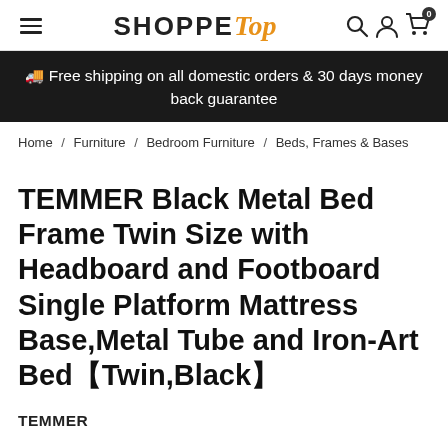SHOPPE Top — navigation header with hamburger menu, logo, search, account, and cart icons
🚚 Free shipping on all domestic orders & 30 days money back guarantee
Home / Furniture / Bedroom Furniture / Beds, Frames & Bases
TEMMER Black Metal Bed Frame Twin Size with Headboard and Footboard Single Platform Mattress Base,Metal Tube and Iron-Art Bed【Twin,Black】
TEMMER